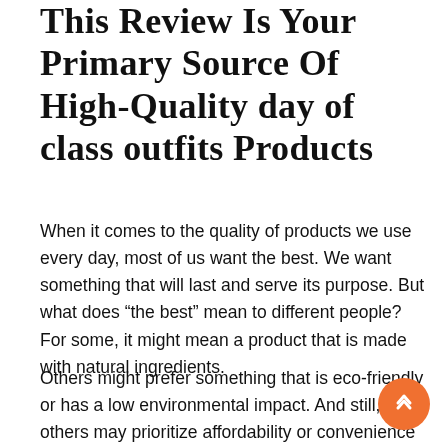This Review Is Your Primary Source Of High-Quality day of class outfits Products
When it comes to the quality of products we use every day, most of us want the best. We want something that will last and serve its purpose. But what does “the best” mean to different people? For some, it might mean a product that is made with natural ingredients.
Others might prefer something that is eco-friendly or has a low environmental impact. And still, others may prioritize affordability or convenience over else. With so many choices out there, it can be